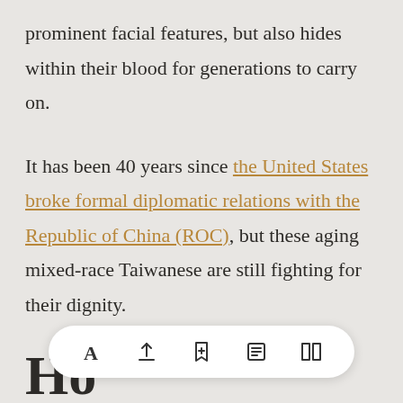prominent facial features, but also hides within their blood for generations to carry on.
It has been 40 years since the United States broke formal diplomatic relations with the Republic of China (ROC), but these aging mixed-race Taiwanese are still fighting for their dignity.
Ho...